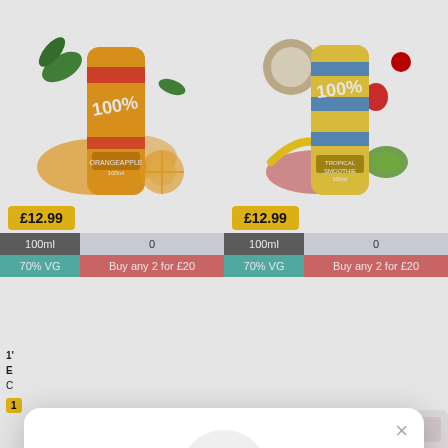[Figure (screenshot): E-liquid product page showing two 100% brand cans with citrus and tropical flavors, priced at £12.99 each, 100ml, 70% VG, with Buy any 2 for £20 promotion]
[Figure (screenshot): Modal popup overlay with sparkle icon saying 'Unlock exclusive rewards and perks', Sign up or Log in text, Sign up button, and 'Already have an account? Sign in' link]
Unlock exclusive rewards and perks
Sign up or Log in
Sign up
Already have an account? Sign in